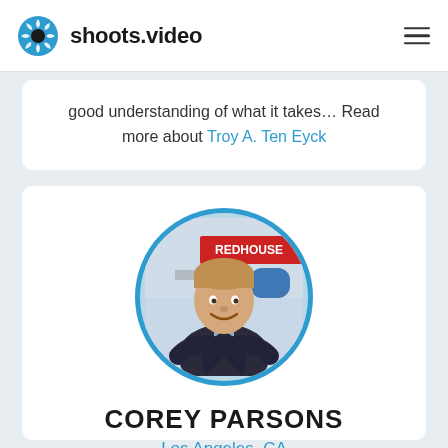shoots.video
good understanding of what it takes… Read more about Troy A. Ten Eyck
[Figure (photo): Circular profile photo of Corey Parsons, a man in a dark blazer smiling, with a red banner in the background reading REDHOUSE]
COREY PARSONS
Los Angeles, CA
0 Referrals